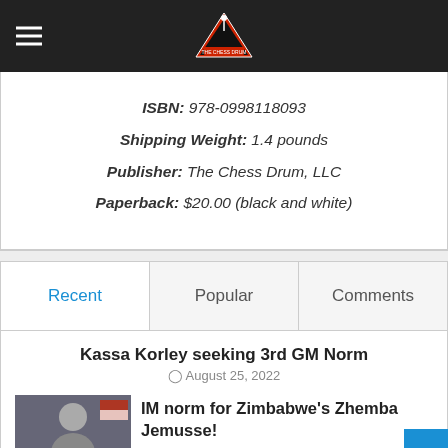The Chess Drum
ISBN: 978-0998118093
Shipping Weight: 1.4 pounds
Publisher: The Chess Drum, LLC
Paperback: $20.00 (black and white)
Recent | Popular | Comments
Kassa Korley seeking 3rd GM Norm
August 25, 2022
[Figure (photo): Photo of a person in athletic gear]
IM norm for Zimbabwe's Zhemba Jemusse!